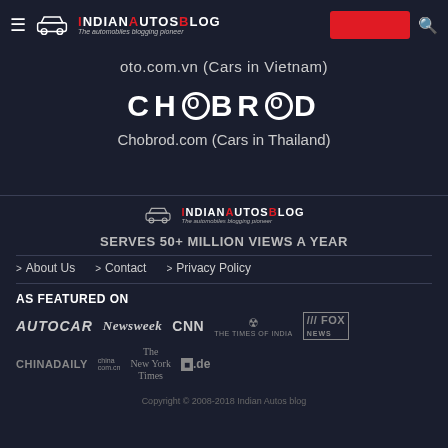IndianAutosBlog - The automobiles blogging pioneer
oto.com.vn (Cars in Vietnam)
[Figure (logo): CHOBROD logo in large white bold uppercase letters]
Chobrod.com (Cars in Thailand)
[Figure (logo): IndianAutosBlog footer logo with car icon and tagline]
SERVES 50+ MILLION VIEWS A YEAR
> About Us
> Contact
> Privacy Policy
AS FEATURED ON
[Figure (logo): Media logos: AUTOCAR, Newsweek, CNN, The Times of India, FOX NEWS, CHINA DAILY, The New York Times, focus.de]
Copyright © 2008-2018 Indian Autos blog